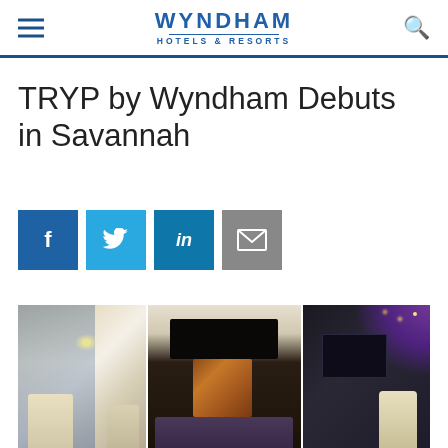WYNDHAM HOTELS & RESORTS
TRYP by Wyndham Debuts in Savannah
[Figure (infographic): Four social sharing buttons: Facebook (dark blue), Twitter (light blue), LinkedIn (blue), Email (gray)]
[Figure (photo): Hotel lobby interior showing three panels: left panel with floor-to-ceiling windows and bright lobby, center panel with dark feature wall with stacked logs and a linear fireplace, right panel with dark wall accented by purple LED lighting and recessed spotlights. Stylish armchairs visible in foreground.]